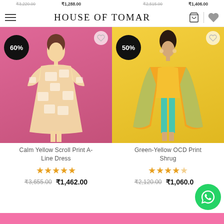HOUSE OF TOMAR
₹3,220.00  ₹1,288.00    ₹2,515.00  ₹1,406.00
[Figure (photo): Product photo of woman in Calm Yellow Scroll Print A-Line Dress on pink background with 60% off badge]
[Figure (photo): Product photo of woman in Green-Yellow OCD Print Shrug on yellow background with 50% off badge]
Calm Yellow Scroll Print A-Line Dress
Green-Yellow OCD Print Shrug
★★★★★  ₹3,655.00  ₹1,462.00
★★★★½  ₹2,120.00  ₹1,060.00